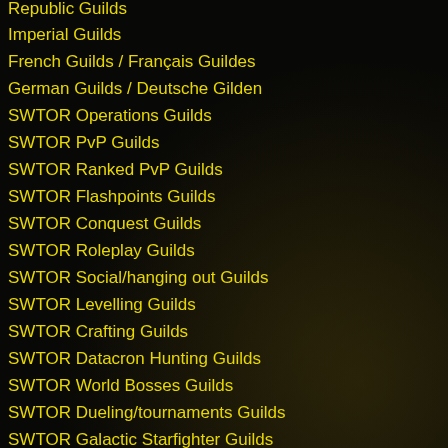Republic Guilds
Imperial Guilds
French Guilds / Français Guildes
German Guilds / Deutsche Gilden
SWTOR Operations Guilds
SWTOR PvP Guilds
SWTOR Ranked PvP Guilds
SWTOR Flashpoints Guilds
SWTOR Conquest Guilds
SWTOR Roleplay Guilds
SWTOR Social/hanging out Guilds
SWTOR Levelling Guilds
SWTOR Crafting Guilds
SWTOR Datacron Hunting Guilds
SWTOR World Bosses Guilds
SWTOR Dueling/tournaments Guilds
SWTOR Galactic Starfighter Guilds
SWTOR Open world PvP Guilds